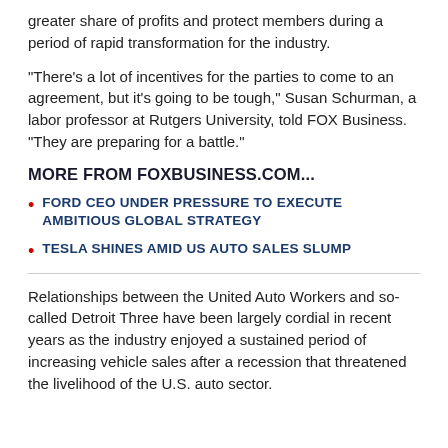greater share of profits and protect members during a period of rapid transformation for the industry.
"There's a lot of incentives for the parties to come to an agreement, but it's going to be tough," Susan Schurman, a labor professor at Rutgers University, told FOX Business. "They are preparing for a battle."
MORE FROM FOXBUSINESS.COM...
FORD CEO UNDER PRESSURE TO EXECUTE AMBITIOUS GLOBAL STRATEGY
TESLA SHINES AMID US AUTO SALES SLUMP
Relationships between the United Auto Workers and so-called Detroit Three have been largely cordial in recent years as the industry enjoyed a sustained period of increasing vehicle sales after a recession that threatened the livelihood of the U.S. auto sector.